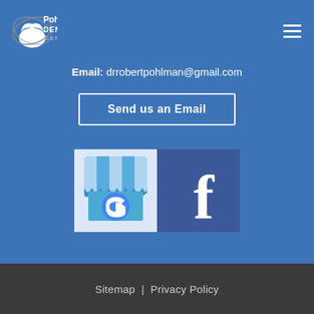[Figure (logo): Pohlman Dental Centre logo with tooth icon and swoosh]
Email: drrobertpohlman@gmail.com
Send us an Email
[Figure (illustration): Google My Business icon and Facebook icon side by side]
Sitemap | Privacy Policy